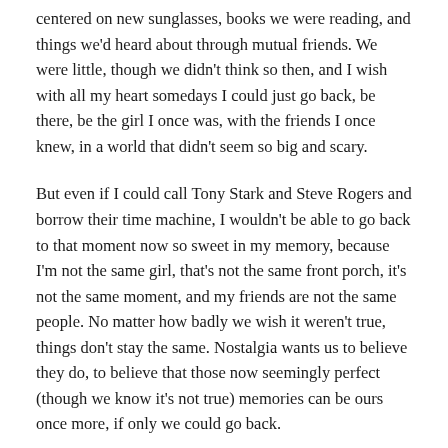centered on new sunglasses, books we were reading, and things we'd heard about through mutual friends. We were little, though we didn't think so then, and I wish with all my heart somedays I could just go back, be there, be the girl I once was, with the friends I once knew, in a world that didn't seem so big and scary.
But even if I could call Tony Stark and Steve Rogers and borrow their time machine, I wouldn't be able to go back to that moment now so sweet in my memory, because I'm not the same girl, that's not the same front porch, it's not the same moment, and my friends are not the same people. No matter how badly we wish it weren't true, things don't stay the same. Nostalgia wants us to believe they do, to believe that those now seemingly perfect (though we know it's not true) memories can be ours once more, if only we could go back.
Our hearts long for something that will not change, that is the same today as it was in those days of once upon a time, and as we grow